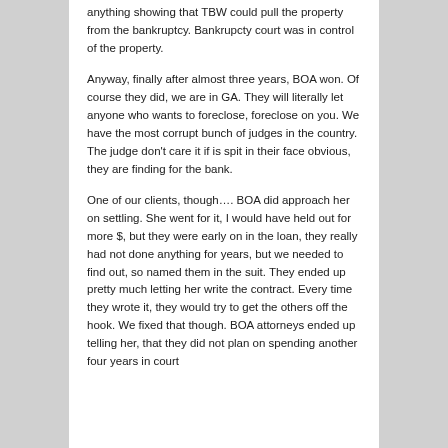anything showing that TBW could pull the property from the bankruptcy. Bankrupcty court was in control of the property.
Anyway, finally after almost three years, BOA won. Of course they did, we are in GA. They will literally let anyone who wants to foreclose, foreclose on you. We have the most corrupt bunch of judges in the country. The judge don't care it if is spit in their face obvious, they are finding for the bank.
One of our clients, though…. BOA did approach her on settling. She went for it, I would have held out for more $, but they were early on in the loan, they really had not done anything for years, but we needed to find out, so named them in the suit. They ended up pretty much letting her write the contract. Every time they wrote it, they would try to get the others off the hook. We fixed that though. BOA attorneys ended up telling her, that they did not plan on spending another four years in court